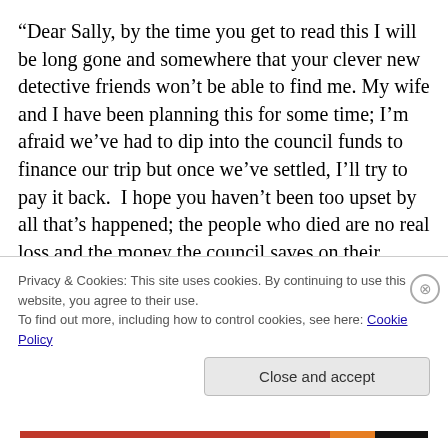“Dear Sally, by the time you get to read this I will be long gone and somewhere that your clever new detective friends won’t be able to find me. My wife and I have been planning this for some time; I’m afraid we’ve had to dip into the council funds to finance our trip but once we’ve settled, I’ll try to pay it back.  I hope you haven’t been too upset by all that’s happened; the people who died are no real loss and the money the council saves on their salaries, pensions and golden handshakes will go some way to paying off some of the overspend.  I’ve done a
Privacy & Cookies: This site uses cookies. By continuing to use this website, you agree to their use.
To find out more, including how to control cookies, see here: Cookie Policy
Close and accept